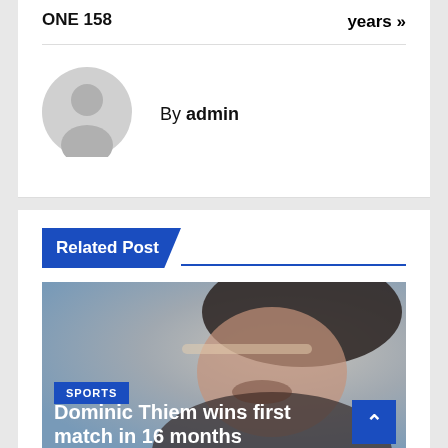ONE 158
years »
[Figure (photo): Default user avatar placeholder - grey circle with person silhouette]
By admin
Related Post
[Figure (photo): Photo of Dominic Thiem, a tennis player, looking down]
SPORTS
Dominic Thiem wins first match in 16 months